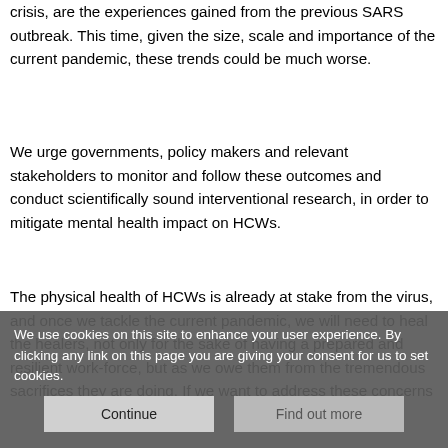crisis, are the experiences gained from the previous SARS outbreak. This time, given the size, scale and importance of the current pandemic, these trends could be much worse.
We urge governments, policy makers and relevant stakeholders to monitor and follow these outcomes and conduct scientifically sound interventional research, in order to mitigate mental health impact on HCWs.
The physical health of HCWs is already at stake from the virus, and once we tackle the current pandemic, we will need to heal the healers, not only for the sake of having a prepared and resilient work-force, but as we owe them from the tremendous sacrifices they are doing. If we want to address these concerns
We use cookies on this site to enhance your user experience. By clicking any link on this page you are giving your consent for us to set cookies.